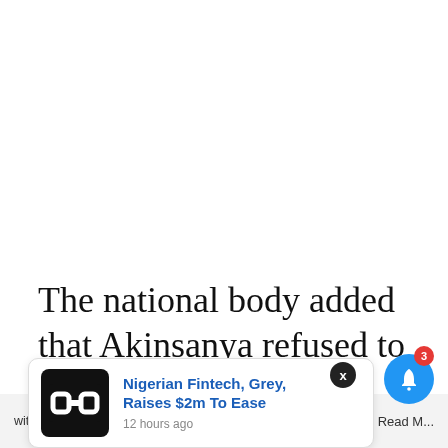The national body added that Akinsanya refused to hand over the former NURTW Secretariat situated at Abule Egba to the tricycle
[Figure (screenshot): Notification popup for 'Nigerian Fintech, Grey, Raises $2m To Ease' article, posted 12 hours ago, with a black logo icon on the left, blue linked title text, and a close X button.]
vent them
e'll assume y
with this, but you can opt-out if you wish.
Accept
Read M...